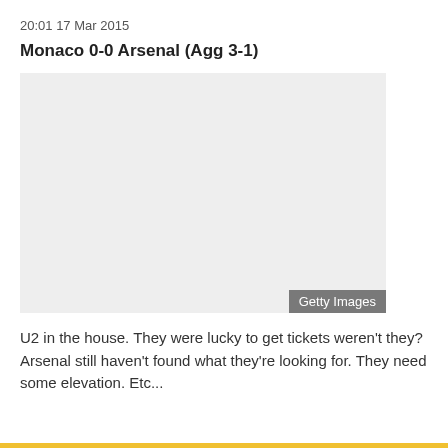20:01 17 Mar 2015
Monaco 0-0 Arsenal (Agg 3-1)
[Figure (photo): Grey placeholder image with Getty Images watermark in bottom right corner]
U2 in the house. They were lucky to get tickets weren't they? Arsenal still haven't found what they're looking for. They need some elevation. Etc...